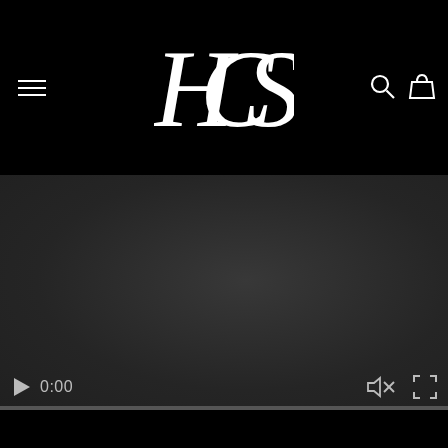HCS navigation header with hamburger menu, HCS logo, search and bag icons
[Figure (screenshot): Dark video player area showing a near-black video frame with video controls at bottom: play button, time display 0:00, mute icon, and fullscreen icon, with a progress bar below]
0:00